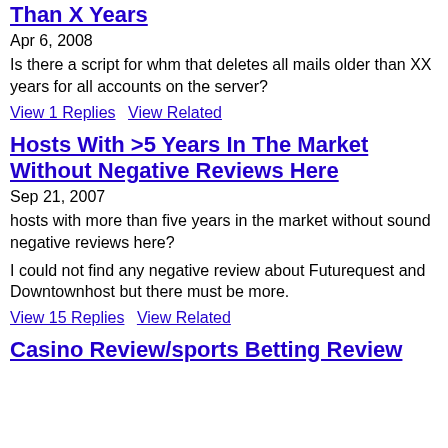Than X Years
Apr 6, 2008
Is there a script for whm that deletes all mails older than XX years for all accounts on the server?
View 1 Replies   View Related
Hosts With >5 Years In The Market Without Negative Reviews Here
Sep 21, 2007
hosts with more than five years in the market without sound negative reviews here?
I could not find any negative review about Futurequest and Downtownhost but there must be more.
View 15 Replies   View Related
Casino Review/sports Betting Review